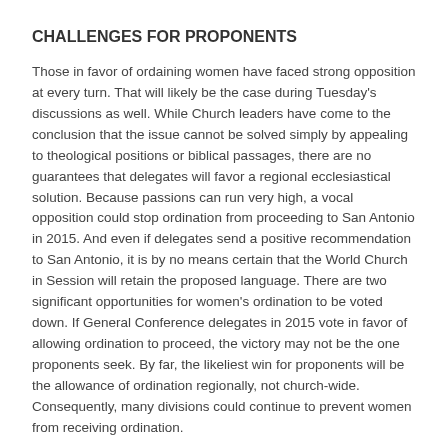CHALLENGES FOR PROPONENTS
Those in favor of ordaining women have faced strong opposition at every turn. That will likely be the case during Tuesday's discussions as well. While Church leaders have come to the conclusion that the issue cannot be solved simply by appealing to theological positions or biblical passages, there are no guarantees that delegates will favor a regional ecclesiastical solution. Because passions can run very high, a vocal opposition could stop ordination from proceeding to San Antonio in 2015. And even if delegates send a positive recommendation to San Antonio, it is by no means certain that the World Church in Session will retain the proposed language. There are two significant opportunities for women's ordination to be voted down. If General Conference delegates in 2015 vote in favor of allowing ordination to proceed, the victory may not be the one proponents seek. By far, the likeliest win for proponents will be the allowance of ordination regionally, not church-wide. Consequently, many divisions could continue to prevent women from receiving ordination.